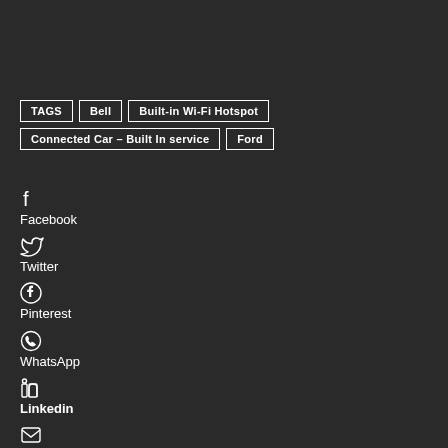TAGS | Bell | Built-in Wi-Fi Hotspot | Connected Car – Built In service | Ford
Facebook
Twitter
Pinterest
WhatsApp
Linkedin
Email
Print